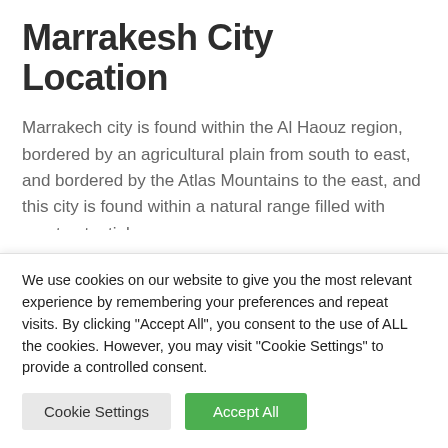Marrakesh City Location
Marrakech city is found within the Al Haouz region, bordered by an agricultural plain from south to east, and bordered by the Atlas Mountains to the east, and this city is found within a natural range filled with great potential.
The city was founded by Youssef bin Tashfin, within the period between (1060-1606), the primary ruler of the Almoravids, and as a result, Marrakesh became a base for
We use cookies on our website to give you the most relevant experience by remembering your preferences and repeat visits. By clicking "Accept All", you consent to the use of ALL the cookies. However, you may visit "Cookie Settings" to provide a controlled consent.